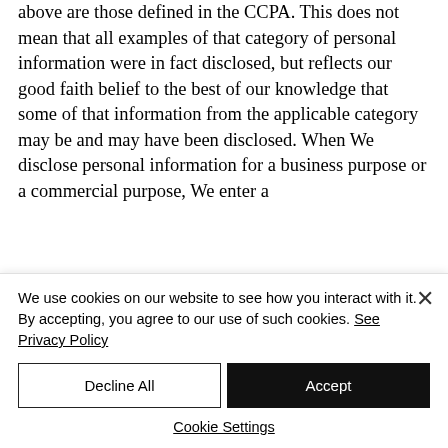above are those defined in the CCPA. This does not mean that all examples of that category of personal information were in fact disclosed, but reflects our good faith belief to the best of our knowledge that some of that information from the applicable category may be and may have been disclosed. When We disclose personal information for a business purpose or a commercial purpose, We enter a
We use cookies on our website to see how you interact with it. By accepting, you agree to our use of such cookies. See Privacy Policy
Decline All
Accept
Cookie Settings